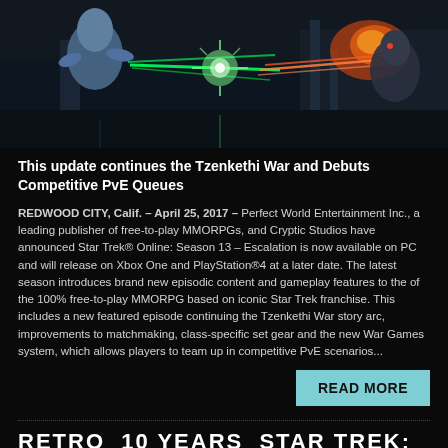[Figure (screenshot): Star Trek Online game screenshot showing characters with laser beams/energy weapons in a sci-fi environment]
This update continues the Tzenkethi War and Debuts Competitive PvE Queues
REDWOOD CITY, Calif. – April 25, 2017 – Perfect World Entertainment Inc., a leading publisher of free-to-play MMORPGs, and Cryptic Studios have announced Star Trek® Online: Season 13 – Escalation is now available on PC and will release on Xbox One and PlayStation®4 at a later date. The latest season introduces brand new episodic content and gameplay features to the of the 100% free-to-play MMORPG based on iconic Star Trek franchise. This includes a new featured episode continuing the Tzenkethi War story arc, improvements to matchmaking, class-specific set gear and the new War Games system, which allows players to team up in competitive PvE scenarios...
READ MORE
RETRO  10 YEARS  STAR TREK: LEGACY